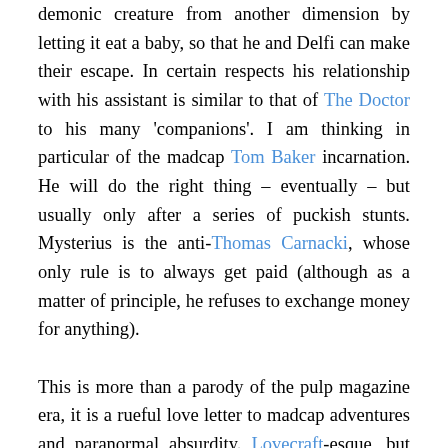demonic creature from another dimension by letting it eat a baby, so that he and Delfi can make their escape. In certain respects his relationship with his assistant is similar to that of The Doctor to his many 'companions'. I am thinking in particular of the madcap Tom Baker incarnation. He will do the right thing – eventually – but usually only after a series of puckish stunts. Mysterius is the anti-Thomas Carnacki, whose only rule is to always get paid (although as a matter of principle, he refuses to exchange money for anything).

This is more than a parody of the pulp magazine era, it is a rueful love letter to madcap adventures and paranormal absurdity. Lovecraft-esque, but with a sense of fun and whimsy that eluded the grim New Englander. If you were to say the word 'squamous', to Mysterius, he would probably snort with laughter. There's even a dig at